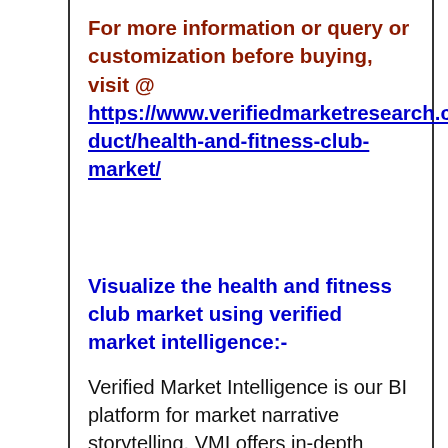For more information or query or customization before buying, visit @ https://www.verifiedmarketresearch.com/product/health-and-fitness-club-market/
Visualize the health and fitness club market using verified market intelligence:-
Verified Market Intelligence is our BI platform for market narrative storytelling. VMI offers in-depth forecast trends and accurate insights on over 20,000 emerging and niche markets, helping you make critical revenue-impacting decisions